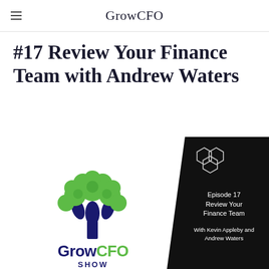GrowCFO
#17 Review Your Finance Team with Andrew Waters
[Figure (logo): GrowCFO Show podcast cover image featuring a green tree logo on the left with 'GrowCFO SHOW' text, and a black panel on the right with hexagon icons and text 'Episode 17 Review Your Finance Team With Kevin Appleby and Andrew Waters']